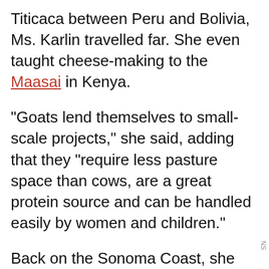Titicaca between Peru and Bolivia, Ms. Karlin travelled far. She even taught cheese-making to the Maasai in Kenya.
“Goats lend themselves to small-scale projects,” she said, adding that they “require less pasture space than cows, are a great protein source and can be handled easily by women and children.”
Back on the Sonoma Coast, she sells
[Figure (photo): Photo of cheese on shelves/refrigerator, blue and white packaging visible]
her cheese at the Marin Farmers